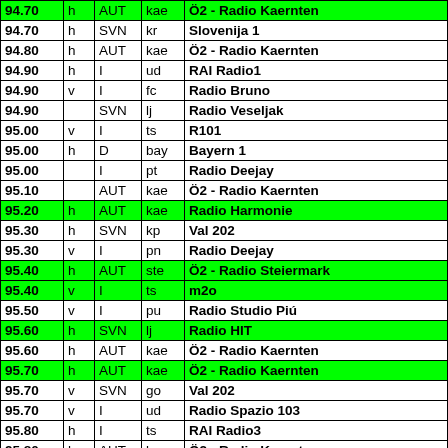| Freq |  | Country | Loc | Station |
| --- | --- | --- | --- | --- |
| 94.70 | h | AUT | kae | Ö2 - Radio Kaernten |
| 94.70 | h | SVN | kr | Slovenija 1 |
| 94.80 | h | AUT | kae | Ö2 - Radio Kaernten |
| 94.90 | h | I | ud | RAI Radio1 |
| 94.90 | v | I | fc | Radio Bruno |
| 94.90 |  | SVN | lj | Radio Veseljak |
| 95.00 | v | I | ts | R101 |
| 95.00 | h | D | bay | Bayern 1 |
| 95.00 |  | I | pt | Radio Deejay |
| 95.10 |  | AUT | kae | Ö2 - Radio Kaernten |
| 95.20 | h | AUT | kae | Radio Harmonie |
| 95.30 | h | SVN | kp | Val 202 |
| 95.30 | v | I | pn | Radio Deejay |
| 95.40 | h | AUT | ste | Ö2 - Radio Steiermark |
| 95.40 | v | I | ts | m2o |
| 95.50 | v | I | pu | Radio Studio Piú |
| 95.60 | h | SVN | lj | Radio HIT |
| 95.60 | h | AUT | kae | Ö2 - Radio Kaernten |
| 95.70 | h | AUT | kae | Ö2 - Radio Kaernten |
| 95.70 | v | SVN | go | Val 202 |
| 95.70 | v | I | ud | Radio Spazio 103 |
| 95.80 | h | I | ts | RAI Radio3 |
| 95.80 | h | AUT | kae | Ö2 - Radio Kaernten |